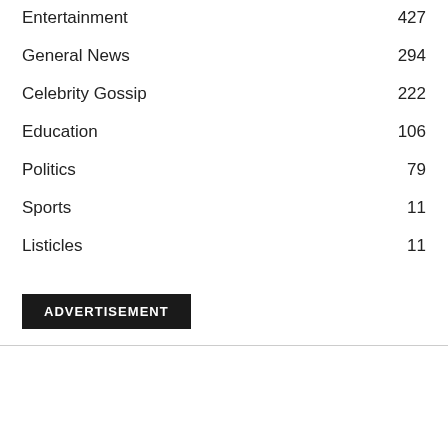Entertainment 427
General News 294
Celebrity Gossip 222
Education 106
Politics 79
Sports 11
Listicles 11
ADVERTISEMENT